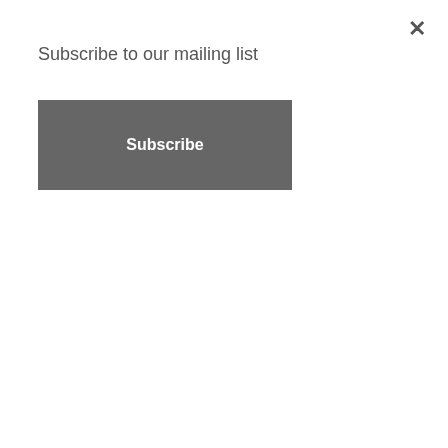Subscribe to our mailing list
Subscribe
[Figure (photo): Black and white photo of a DJ turntable with vinyl record and mixing equipment in the background]
A week on Saturday I play a pretty special London gig at Loft Studios alongside NYC edit maestro Danny Krivit, the guy who set the standard back in the ’80s with his classic re-imagining of MFSB’s ‘Love Is The Message’, one of the quintessential New York Disco anthems. Full lowdown on the gig here, at Resident Advisor: http://www.residentadvisor.net/event.aspx?440816
Continue Reading →
16